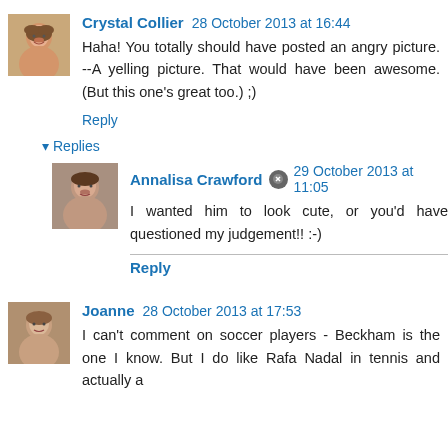[Figure (photo): Avatar photo of Crystal Collier, a woman with light brown hair smiling]
Crystal Collier 28 October 2013 at 16:44
Haha! You totally should have posted an angry picture. --A yelling picture. That would have been awesome. (But this one's great too.) ;)
Reply
▼ Replies
[Figure (photo): Avatar photo of Annalisa Crawford, a woman with dark hair]
Annalisa Crawford 29 October 2013 at 11:05
I wanted him to look cute, or you'd have questioned my judgement!! :-)
Reply
[Figure (photo): Avatar photo of Joanne, a woman]
Joanne 28 October 2013 at 17:53
I can't comment on soccer players - Beckham is the one I know. But I do like Rafa Nadal in tennis and actually a